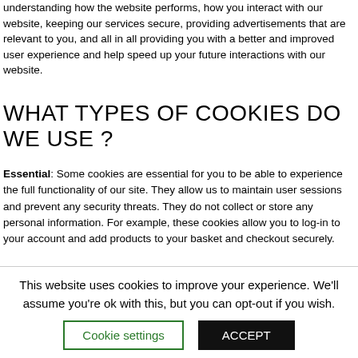understanding how the website performs, how you interact with our website, keeping our services secure, providing advertisements that are relevant to you, and all in all providing you with a better and improved user experience and help speed up your future interactions with our website.
WHAT TYPES OF COOKIES DO WE USE ?
Essential: Some cookies are essential for you to be able to experience the full functionality of our site. They allow us to maintain user sessions and prevent any security threats. They do not collect or store any personal information. For example, these cookies allow you to log-in to your account and add products to your basket and checkout securely.
This website uses cookies to improve your experience. We'll assume you're ok with this, but you can opt-out if you wish.